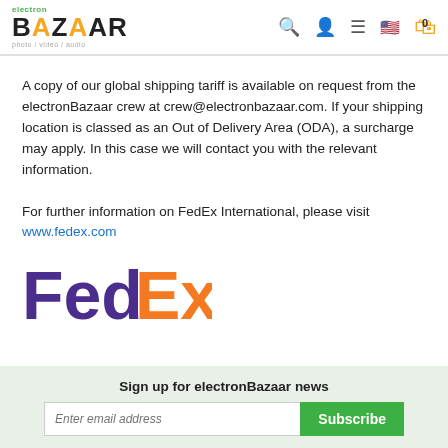electron BAZAAR photo / video / audio
A copy of our global shipping tariff is available on request from the electronBazaar crew at crew@electronbazaar.com. If your shipping location is classed as an Out of Delivery Area (ODA), a surcharge may apply. In this case we will contact you with the relevant information.

For further information on FedEx International, please visit www.fedex.com
[Figure (logo): FedEx logo in purple and orange]
Sign up for electronBazaar news